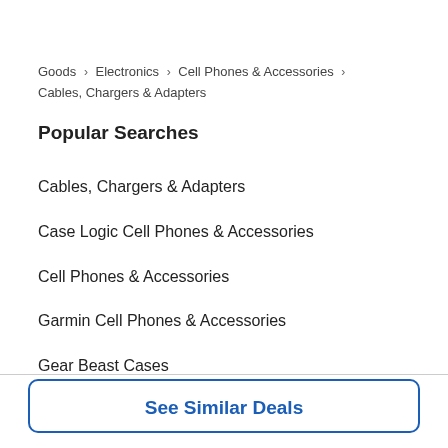Goods > Electronics > Cell Phones & Accessories > Cables, Chargers & Adapters
Popular Searches
Cables, Chargers & Adapters
Case Logic Cell Phones & Accessories
Cell Phones & Accessories
Garmin Cell Phones & Accessories
Gear Beast Cases
Gear Beast Cell Phone Accessories
Gear Beast Cell Phones & Accessories
See Similar Deals